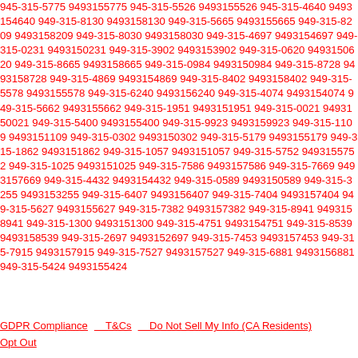945-315-5775 9493155775 945-315-5526 9493155526 945-315-4640 9493154640 949-315-8130 9493158130 949-315-5665 9493155665 949-315-8209 9493158209 949-315-8030 9493158030 949-315-4697 9493154697 949-315-0231 9493150231 949-315-3902 9493153902 949-315-0620 9493150620 949-315-8665 9493158665 949-315-0984 9493150984 949-315-8728 9493158728 949-315-4869 9493154869 949-315-8402 9493158402 949-315-5578 9493155578 949-315-6240 9493156240 949-315-4074 9493154074 949-315-5662 9493155662 949-315-1951 9493151951 949-315-0021 9493150021 949-315-5400 9493155400 949-315-9923 9493159923 949-315-1109 9493151109 949-315-0302 9493150302 949-315-5179 9493155179 949-315-1862 9493151862 949-315-1057 9493151057 949-315-5752 9493155752 949-315-1025 9493151025 949-315-7586 9493157586 949-315-7669 9493157669 949-315-4432 9493154432 949-315-0589 9493150589 949-315-3255 9493153255 949-315-6407 9493156407 949-315-7404 9493157404 949-315-5627 9493155627 949-315-7382 9493157382 949-315-8941 9493158941 949-315-1300 9493151300 949-315-4751 9493154751 949-315-8539 9493158539 949-315-2697 9493152697 949-315-7453 9493157453 949-315-7915 9493157915 949-315-7527 9493157527 949-315-6881 9493156881 949-315-5424 9493155424
GDPR Compliance   T&Cs   Do Not Sell My Info (CA Residents)   Opt Out